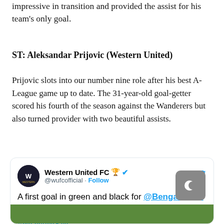impressive in transition and provided the assist for his team's only goal.
ST: Aleksandar Prijovic (Western United)
Prijovic slots into our number nine role after his best A-League game up to date. The 31-year-old goal-getter scored his fourth of the season against the Wanderers but also turned provider with two beautiful assists.
[Figure (screenshot): Embedded tweet from Western United FC (@wufcofficial) reading: 'A first goal in green and black for @Bengaruccio 💚🖤 #WUNvWSW' with a green/black image strip at the bottom and a dark mode crescent moon icon overlay.]